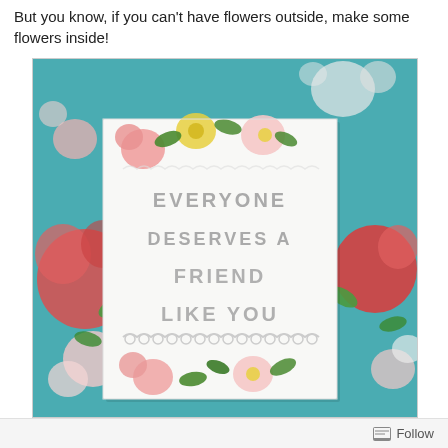But you know, if you can't have flowers outside, make some flowers inside!
[Figure (photo): A decorative greeting card with cut-out letters reading 'EVERYONE DESERVES A FRIEND LIKE YOU', with floral decorations at the top and bottom, set against a teal floral background.]
Follow